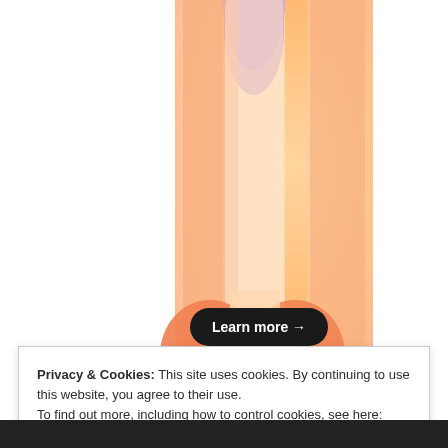[Figure (illustration): Abstract colorful illustration with orange gradient background, rounded blob shapes in peach/salmon/purple colors arranged vertically. A dark pill-shaped 'Learn more →' button overlaid on the illustration. Partial circular logo visible at bottom of illustration area.]
Privacy & Cookies: This site uses cookies. By continuing to use this website, you agree to their use.
To find out more, including how to control cookies, see here: Cookie Policy
Close and accept